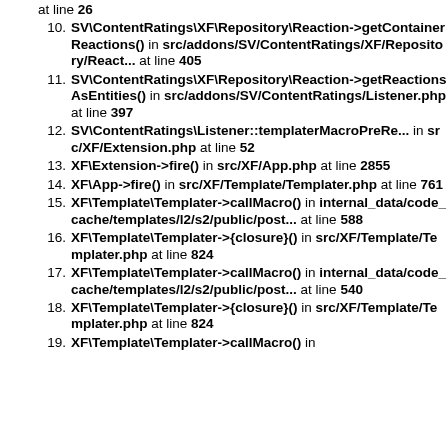at line 26
10. SV\ContentRatings\XF\Repository\Reaction->getContainerReactions() in src/addons/SV/ContentRatings/XF/Repository/React... at line 405
11. SV\ContentRatings\XF\Repository\Reaction->getReactionsAsEntities() in src/addons/SV/ContentRatings/Listener.php at line 397
12. SV\ContentRatings\Listener::templaterMacroPreRe... in src/XF/Extension.php at line 52
13. XF\Extension->fire() in src/XF/App.php at line 2855
14. XF\App->fire() in src/XF/Template/Templater.php at line 761
15. XF\Template\Templater->callMacro() in internal_data/code_cache/templates/l2/s2/public/post... at line 588
16. XF\Template\Templater->{closure}() in src/XF/Template/Templater.php at line 824
17. XF\Template\Templater->callMacro() in internal_data/code_cache/templates/l2/s2/public/post... at line 540
18. XF\Template\Templater->{closure}() in src/XF/Template/Templater.php at line 824
19. XF\Template\Templater->callMacro() in